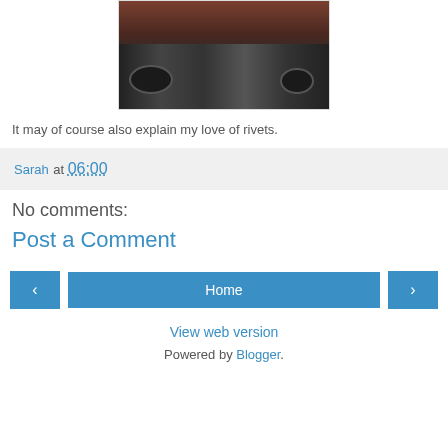[Figure (photo): Photograph of industrial machinery, showing large cylindrical drums or rollers with mechanical components and cables beneath, in dark tones.]
It may of course also explain my love of rivets.
Sarah at 06:00
No comments:
Post a Comment
Home
View web version
Powered by Blogger.